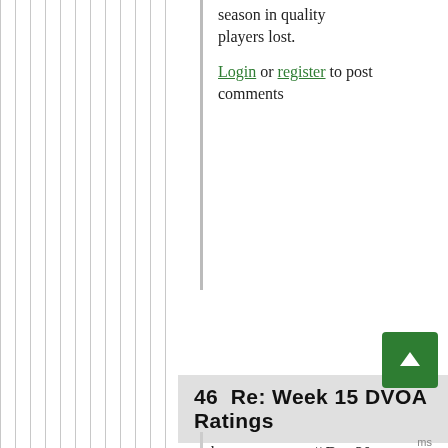season in quality players lost.
Login or register to post comments
46  Re: Week 15 DVOA Ratings
by roguerouge // Dec 20, 2017 - 4:01pm
Like many teams that aren't the Redskins or Dolphins, the Patriots do try to target undervalued talent wherever they can find it rather than top talent at the peak of their